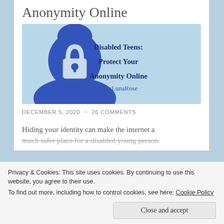Anonymity Online
[Figure (illustration): Blue illustrated image with a silhouette of a person's head with a padlock icon on the face. Text on the right reads: 'Disabled Teens: Protect Your Anonymity Online MissLunaRose' in dark blue handwritten-style font on a light blue background.]
DECEMBER 5, 2020 ~ 26 COMMENTS
Hiding your identity can make the internet a much safer place for a disabled young person.
Privacy & Cookies: This site uses cookies. By continuing to use this website, you agree to their use.
To find out more, including how to control cookies, see here: Cookie Policy
Close and accept